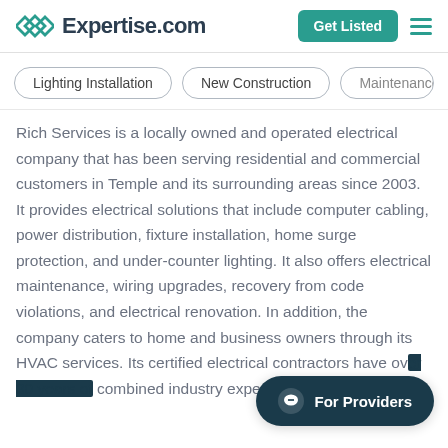Expertise.com | Get Listed
Lighting Installation
New Construction
Maintenance & R…
Rich Services is a locally owned and operated electrical company that has been serving residential and commercial customers in Temple and its surrounding areas since 2003. It provides electrical solutions that include computer cabling, power distribution, fixture installation, home surge protection, and under-counter lighting. It also offers electrical maintenance, wiring upgrades, recovery from code violations, and electrical renovation. In addition, the company caters to home and business owners through its HVAC services. Its certified electrical contractors have over [obscured] years of combined industry experience.
For Providers